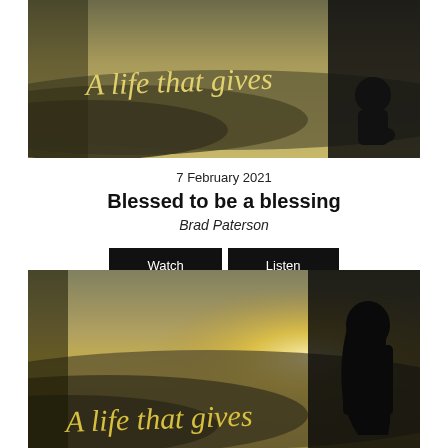[Figure (photo): Banner image with silhouette of person kneeling, warm golden sunset with mountain ridges in background, cursive text overlay reading 'A life that gives']
7 February 2021
Blessed to be a blessing
Brad Paterson
[Figure (other): Two buttons: Watch and Listen (black rectangular buttons)]
[Figure (photo): Second banner image with silhouette of person with long hair sitting, bright glowing sunset behind mountains, cursive text overlay reading 'A life that gives']